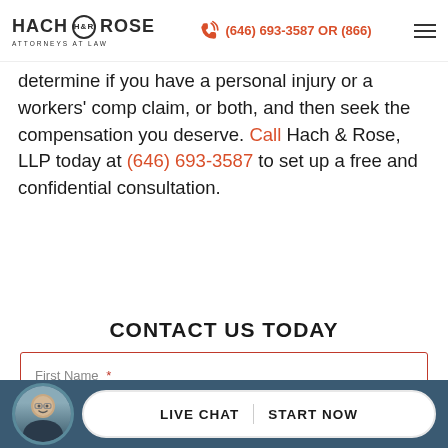HACH & ROSE ATTORNEYS AT LAW | (646) 693-3587 OR (866)
determine if you have a personal injury or a workers' comp claim, or both, and then seek the compensation you deserve. Call Hach & Rose, LLP today at (646) 693-3587 to set up a free and confidential consultation.
CONTACT US TODAY
First Name *
Last Name *
Phone *
E-mail
LIVE CHAT   START NOW